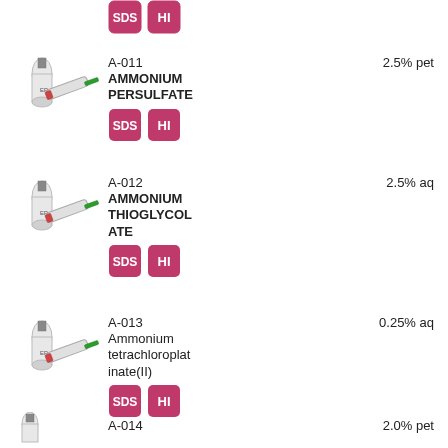[Figure (other): SDS and HI badge icons at top of page]
[Figure (photo): Product vial and syringe image for A-011]
A-011   2.5% pet
AMMONIUM PERSULFATE
[Figure (other): SDS and HI badge icons for A-011]
[Figure (photo): Product vial and syringe image for A-012]
A-012   2.5% aq
AMMONIUM THIOGLYCOLATE
[Figure (other): SDS and HI badge icons for A-012]
[Figure (photo): Product vial and syringe image for A-013]
A-013   0.25% aq
Ammonium tetrachloroplatinate(II)
[Figure (other): SDS and HI badge icons for A-013]
[Figure (photo): Product vial and syringe image for A-014]
A-014   2.0% pet